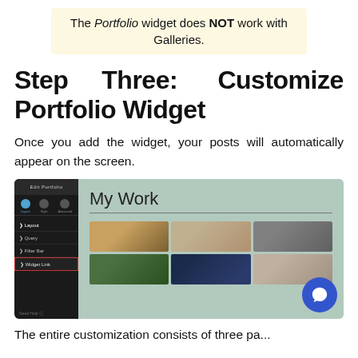The Portfolio widget does NOT work with Galleries.
Step Three: Customize Portfolio Widget
Once you add the widget, your posts will automatically appear on the screen.
[Figure (screenshot): Screenshot of Elementor Edit Portfolio panel on the left with sidebar options (Layout, Query, Filter Bar, Widget Link highlighted in red), and a preview of 'My Work' portfolio widget on the right showing a grid of photos on a sage-green background.]
The entire customization consists of three pa...